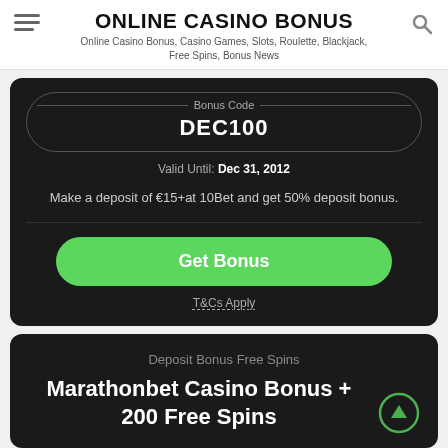ONLINE CASINO BONUS
Online Casino Bonus, Casino Games, Slots, Roulette, Blackjack, Free Spins, Bonus News
Bonus Code
DEC100
Valid Until: Dec 31, 2012
Make a deposit of €15+at 10Bet and get 50% deposit bonus.
Get Bonus
T&Cs Apply
Deposit Bonus Free Spins
Marathonbet Casino Bonus + 200 Free Spins